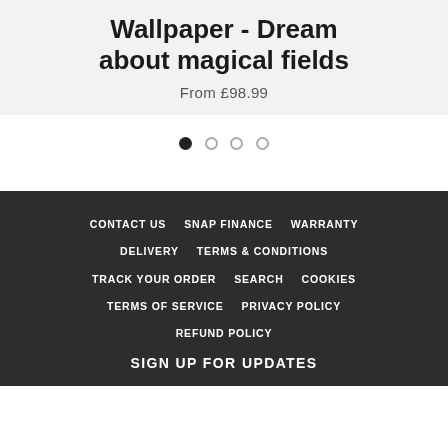Wallpaper - Dream about magical fields
From £98.99
[Figure (other): Carousel pagination dots: one filled dot and three empty circle dots]
CONTACT US  SNAP FINANCE  WARRANTY  DELIVERY  TERMS & CONDITIONS  TRACK YOUR ORDER  SEARCH  COOKIES  TERMS OF SERVICE  PRIVACY POLICY  REFUND POLICY
SIGN UP FOR UPDATES